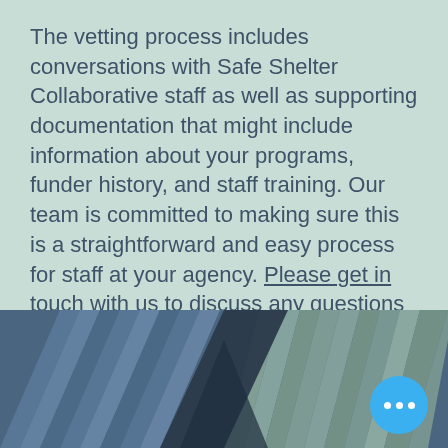The vetting process includes conversations with Safe Shelter Collaborative staff as well as supporting documentation that might include information about your programs, funder history, and staff training. Our team is committed to making sure this is a straightforward and easy process for staff at your agency. Please get in touch with us to discuss any questions or ideas you might have.
[Figure (illustration): Decorative geometric pattern with diagonal stripes in shades of blue-grey and sage green, arranged in a chevron/herringbone pattern. A bright blue circular chat button with three white dots is overlaid in the bottom right corner.]